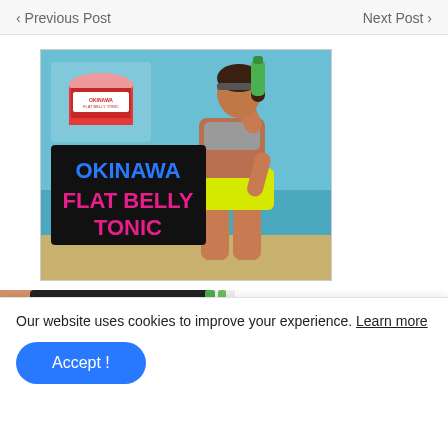‹ Previous Post    Next Post ›
[Figure (illustration): Okinawa Flat Belly Tonic advertisement image showing a woman in athletic wear drinking from a green bottle on a beach, with the product container and bold text 'OKINAWA FLAT BELLY TONIC' overlaid]
[Figure (illustration): Partial advertisement image showing a person's midsection and a green straw with text 'This 1 "Weird"' visible on the right side]
Our website uses cookies to improve your experience. Learn more
Accept !